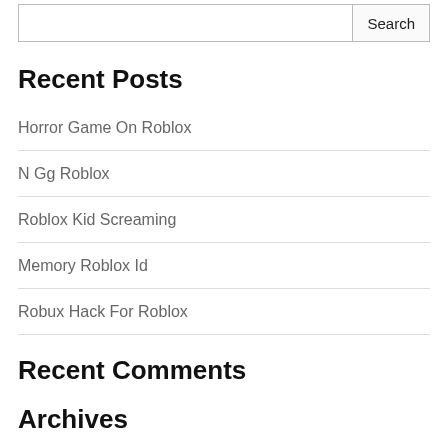Recent Posts
Horror Game On Roblox
N Gg Roblox
Roblox Kid Screaming
Memory Roblox Id
Robux Hack For Roblox
Recent Comments
Archives
May 2022